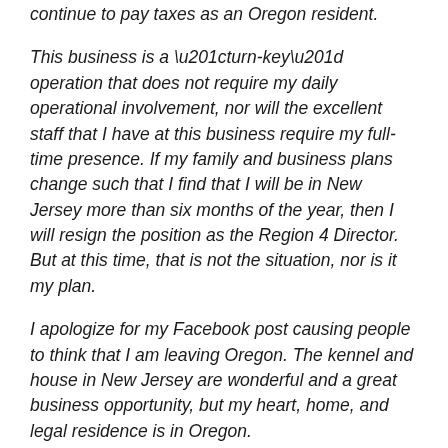continue to pay taxes as an Oregon resident.
This business is a “turn-key” operation that does not require my daily operational involvement, nor will the excellent staff that I have at this business require my full-time presence. If my family and business plans change such that I find that I will be in New Jersey more than six months of the year, then I will resign the position as the Region 4 Director. But at this time, that is not the situation, nor is it my plan.
I apologize for my Facebook post causing people to think that I am leaving Oregon. The kennel and house in New Jersey are wonderful and a great business opportunity, but my heart, home, and legal residence is in Oregon.
We hope that this adequately addresses the questions some have.